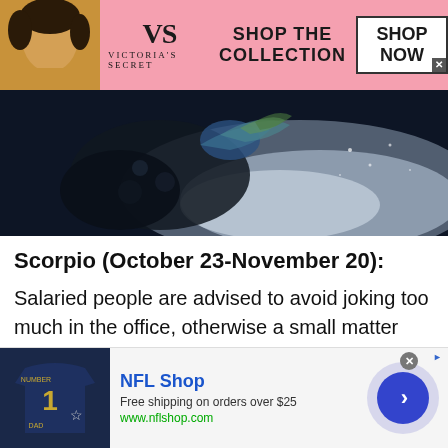[Figure (screenshot): Victoria's Secret advertisement banner with model photo, VS logo, 'SHOP THE COLLECTION' text, and 'SHOP NOW' button on pink background]
[Figure (photo): Scorpio zodiac sign hero image showing a dark blue/navy atmospheric image of a scorpion]
Scorpio (October 23-November 20):
Salaried people are advised to avoid joking too much in the office, otherwise a small matter can turn into a mountain of mustard. It will affect both your work and
[Figure (screenshot): NFL Shop advertisement with jersey image, 'NFL Shop' text, 'Free shipping on orders over $25', 'www.nflshop.com', and a blue arrow button]